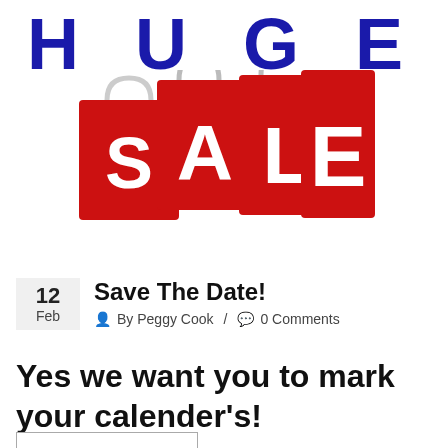[Figure (illustration): Large bold blue text 'HUGE' above four red shopping bags with white letters spelling 'SALE' on them, against a white background.]
Save The Date!
12 Feb  By Peggy Cook / 0 Comments
Yes we want you to mark your calender's!